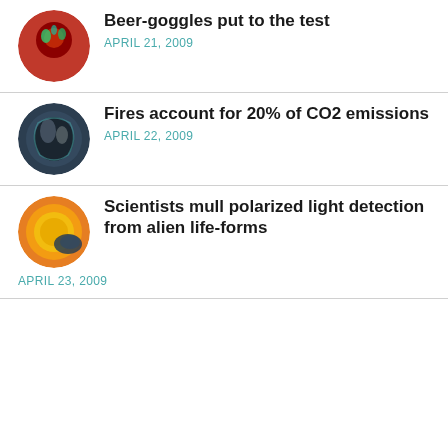Beer-goggles put to the test
APRIL 21, 2009
Fires account for 20% of CO2 emissions
APRIL 22, 2009
Scientists mull polarized light detection from alien life-forms
APRIL 23, 2009
Nano-mechanical sensors “wired” using photonics
APRIL 27, 2009